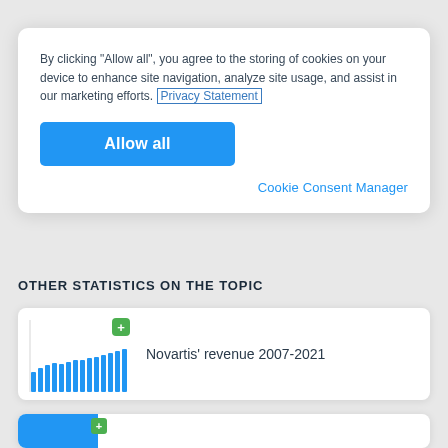By clicking "Allow all", you agree to the storing of cookies on your device to enhance site navigation, analyze site usage, and assist in our marketing efforts. Privacy Statement
Allow all
Cookie Consent Manager
OTHER STATISTICS ON THE TOPIC
[Figure (bar-chart): Thumbnail bar chart showing Novartis revenue trend 2007-2021, blue bars increasing over time with a green plus badge]
Novartis' revenue 2007-2021
[Figure (bar-chart): Partial thumbnail of another statistic card, blue bar with green plus badge, bottom of page]